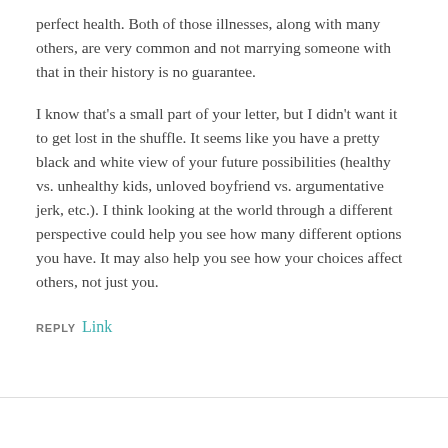perfect health. Both of those illnesses, along with many others, are very common and not marrying someone with that in their history is no guarantee.
I know that's a small part of your letter, but I didn't want it to get lost in the shuffle. It seems like you have a pretty black and white view of your future possibilities (healthy vs. unhealthy kids, unloved boyfriend vs. argumentative jerk, etc.). I think looking at the world through a different perspective could help you see how many different options you have. It may also help you see how your choices affect others, not just you.
REPLY Link